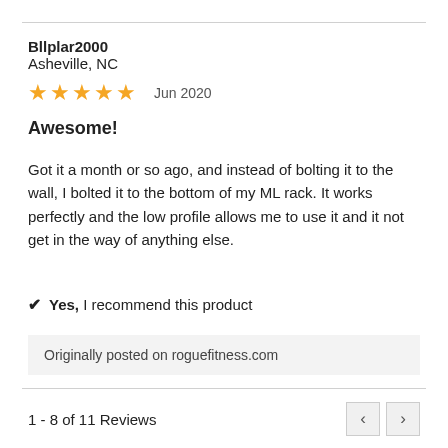Bllplar2000
Asheville, NC
★★★★★  Jun 2020
Awesome!
Got it a month or so ago, and instead of bolting it to the wall, I bolted it to the bottom of my ML rack. It works perfectly and the low profile allows me to use it and it not get in the way of anything else.
✔  Yes, I recommend this product
Originally posted on roguefitness.com
1 - 8 of 11 Reviews